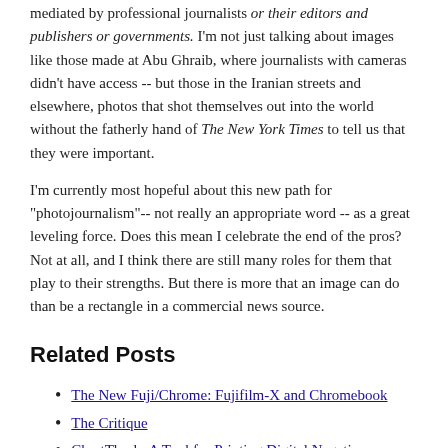mediated by professional journalists or their editors and publishers or governments. I'm not just talking about images like those made at Abu Ghraib, where journalists with cameras didn't have access -- but those in the Iranian streets and elsewhere, photos that shot themselves out into the world without the fatherly hand of The New York Times to tell us that they were important.
I'm currently most hopeful about this new path for "photojournalism"-- not really an appropriate word -- as a great leveling force. Does this mean I celebrate the end of the pros? Not at all, and I think there are still many roles for them that play to their strengths. But there is more that an image can do than be a rectangle in a commercial news source.
Related Posts
The New Fuji/Chrome: Fujifilm-X and Chromebook
The Critique
ChartThrob: A Tool for Printing Digital Negatives
flickr, Blogs, and Cattle (Appended)